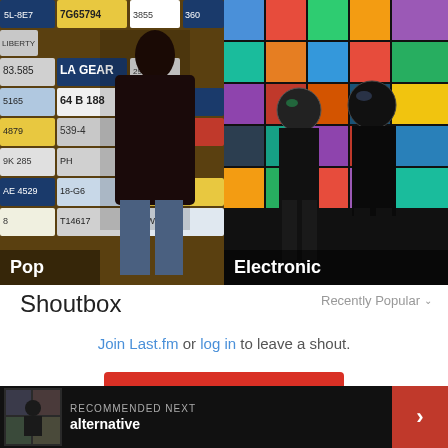[Figure (photo): Pop genre panel showing Michael Jackson in front of license plates background]
[Figure (photo): Electronic genre panel showing Daft Punk in front of colorful album covers background]
Shoutbox
Recently Popular
Join Last.fm or log in to leave a shout.
JOIN LAST.FM
RECOMMENDED NEXT
alternative